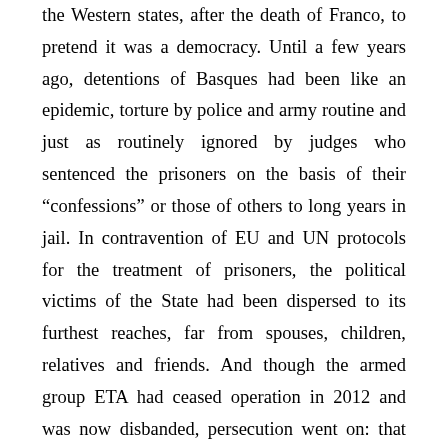the Western states, after the death of Franco, to pretend it was a democracy. Until a few years ago, detentions of Basques had been like an epidemic, torture by police and army routine and just as routinely ignored by judges who sentenced the prisoners on the basis of their “confessions” or those of others to long years in jail. In contravention of EU and UN protocols for the treatment of prisoners, the political victims of the State had been dispersed to its furthest reaches, far from spouses, children, relatives and friends. And though the armed group ETA had ceased operation in 2012 and was now disbanded, persecution went on: that very month, 45 people of various organisations arrested in 2013, 2014 and 2015 for supporting the prisoners, including psychologists and lawyers, “supporting terrorism” according to the State, had been